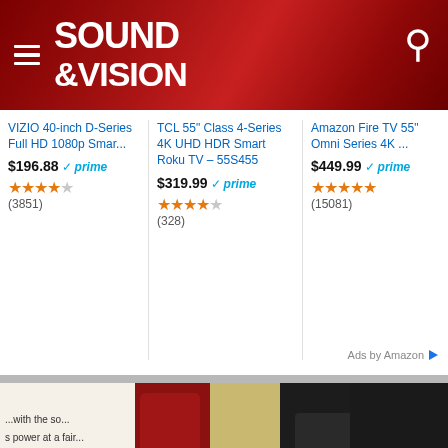Sound & Vision
VIZIO 40-inch D-Series Full HD 1080p Smar...
$196.88 prime ★★★★☆ (3851)
TCL 55" Class 4-Series 4K UHD HDR Smart Roku TV – 55S455
$319.99 prime ★★★★☆ (328)
Amazon Fire TV 55" Omni Series 4K ...
$449.99 prime ★★★★★ (15081)
Ads by Amazon
[Figure (photo): Legacy audio speaker advertisement showing a high-end speaker cabinet with Legacy logo badge and text reading 'Ultra high resolution compact monitor CALIBRE' on dark background]